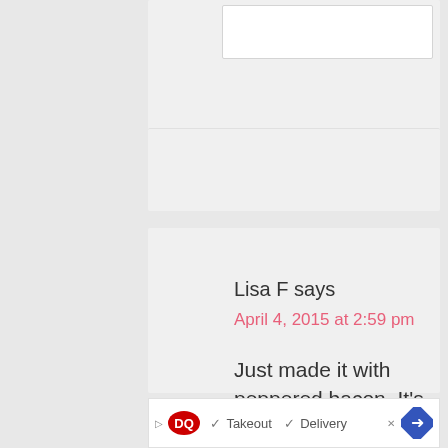[Figure (screenshot): Truncated top portion of a comment/form section with gray and white boxes]
Lisa F says
April 4, 2015 at 2:59 pm
Just made it with peppered bacon. It's soooo good!
[Figure (other): 4 out of 5 star rating shown as yellow and gray stars]
Reply
[Figure (logo): Accessibility icon - blue circle with person symbol]
[Figure (other): Advertisement banner for Dairy Queen showing Takeout and Delivery options]